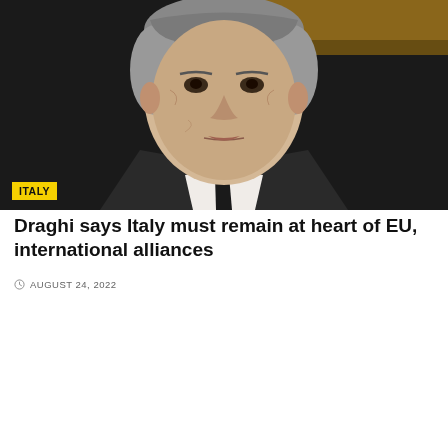[Figure (photo): Close-up photo of an older man in a dark suit and tie, with grey hair, seated in what appears to be a formal setting with warm wooden tones in background. An 'ITALY' tag is overlaid in the bottom-left corner.]
Draghi says Italy must remain at heart of EU, international alliances
AUGUST 24, 2022
[Figure (photo): Partial photo of a woman with blonde/brown hair, cropped at the bottom of the page, against a blurred neutral background.]